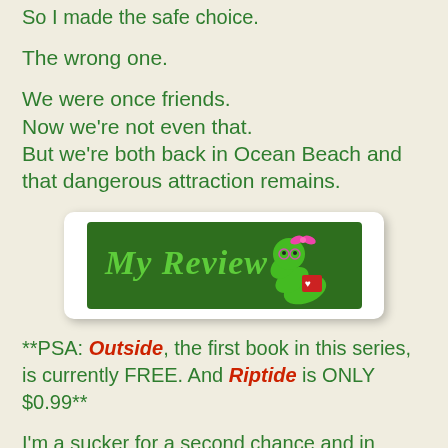So I made the safe choice.
The wrong one.
We were once friends.
Now we're not even that.
But we're both back in Ocean Beach and that dangerous attraction remains.
[Figure (illustration): A 'My Review' banner image featuring a cartoon green bookworm with pink glasses and a pink bow on a dark green background, holding a red heart and reading a book.]
**PSA: Outside, the first book in this series, is currently FREE. And Riptide is ONLY $0.99**
I'm a sucker for a second chance and in Riptide, the second chance allowed for Karen and Ramon was really heartwarming and bittersweet because of all